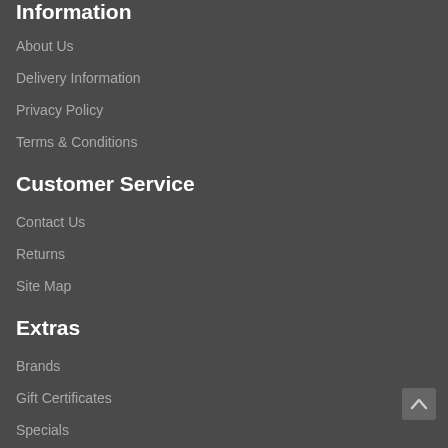Information
About Us
Delivery Information
Privacy Policy
Terms & Conditions
Customer Service
Contact Us
Returns
Site Map
Extras
Brands
Gift Certificates
Specials
My Account
My Account
Order History